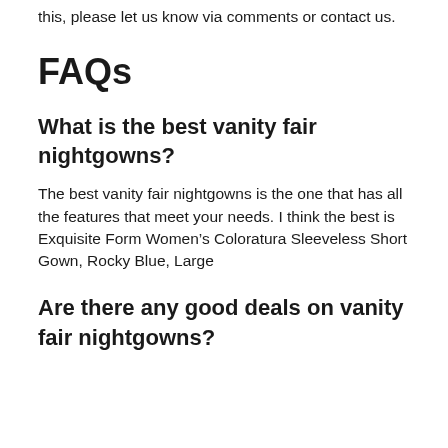this, please let us know via comments or contact us.
FAQs
What is the best vanity fair nightgowns?
The best vanity fair nightgowns is the one that has all the features that meet your needs. I think the best is Exquisite Form Women’s Coloratura Sleeveless Short Gown, Rocky Blue, Large
Are there any good deals on vanity fair nightgowns?